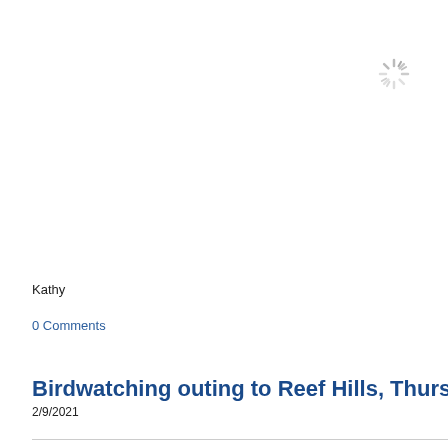[Figure (other): Loading spinner icon (sunburst/radial lines pattern in light gray)]
Kathy
0 Comments
Birdwatching outing to Reef Hills, Thurs
2/9/2021